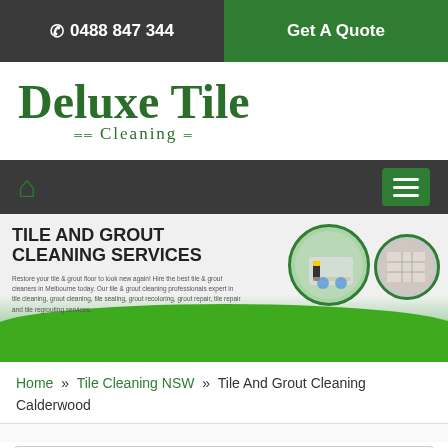📞 0488 847 344 | Get A Quote
[Figure (logo): Deluxe Tile Cleaning logo with large green text]
Navigation bar with home icon and hamburger menu
[Figure (photo): Tile And Grout Cleaning Services banner with cleaning equipment photos]
Home » Tile Cleaning NSW » Tile And Grout Cleaning Calderwood
Tile And Grout Cleaning